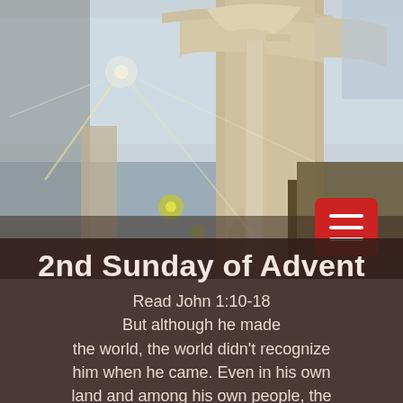[Figure (photo): Photo of a white church gazebo or pergola structure with ornate curved top trim and columns, taken from below looking up. Light rays visible through the glass ceiling. Outdoor furniture visible in background.]
2nd Sunday of Advent
Read John 1:10-18
But although he made the world, the world didn't recognize him when he came. Even in his own land and among his own people, the